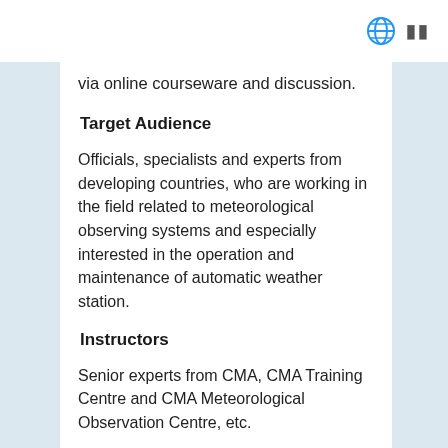via online courseware and discussion.
Target Audience
Officials, specialists and experts from developing countries, who are working in the field related to meteorological observing systems and especially interested in the operation and maintenance of automatic weather station.
Instructors
Senior experts from CMA, CMA Training Centre and CMA Meteorological Observation Centre, etc.